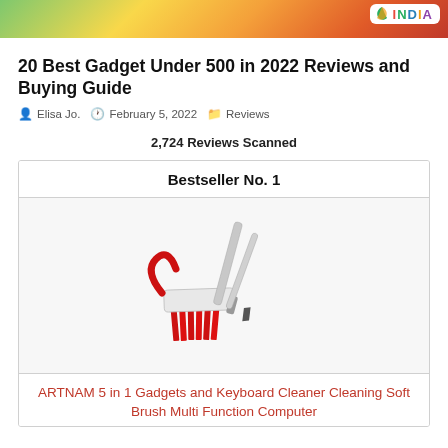[Figure (logo): Colorful gradient banner with INDIA logo/badge in top right corner]
20 Best Gadget Under 500 in 2022 Reviews and Buying Guide
Elisa Jo.  February 5, 2022  Reviews
2,724 Reviews Scanned
Bestseller No. 1
[Figure (photo): Product image of a red cleaning brush set with keyboard cleaner tools]
ARTNAM 5 in 1 Gadgets and Keyboard Cleaner Cleaning Soft Brush Multi Function Computer